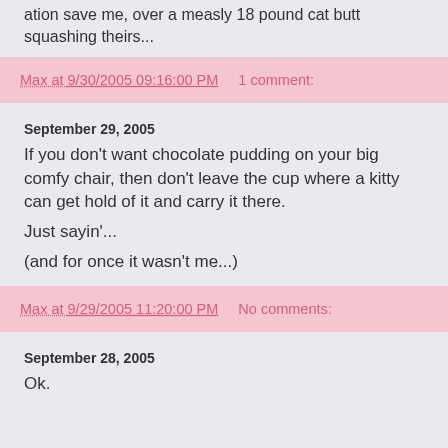ation save me, over a measly 18 pound cat butt squashing theirs...
Max at 9/30/2005 09:16:00 PM    1 comment:
September 29, 2005
If you don't want chocolate pudding on your big comfy chair, then don't leave the cup where a kitty can get hold of it and carry it there.
Just sayin'...
(and for once it wasn't me...)
Max at 9/29/2005 11:20:00 PM    No comments:
September 28, 2005
Ok.